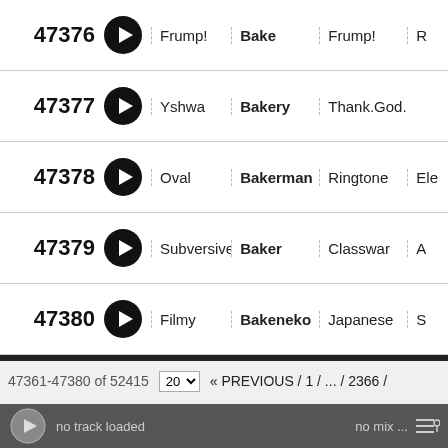| ID |  | Artist | Title | Tags | Extra |
| --- | --- | --- | --- | --- | --- |
| 47376 | ▶ | Frump! | Bake | Frump! | R |
| 47377 | ▶ | Yshwa | Bakery | Thank.God.It's.Fr |  |
| 47378 | ▶ | Oval | Bakerman | Ringtone | Ele |
| 47379 | ▶ | Subversive | Baker | Classwar | A |
| 47380 | ▶ | Filmy | Bakeneko | Japanese | S |
47361-47380 of 52415   20 ▼   « PREVIOUS / 1 / ... / 2366 / 2367 / 2368 / 2369 / 2370 / 2371 / 2372 / ... / 2621 / NEXT »
[Figure (logo): EMA logo in white italic text on black background]
no track loaded   no mix ...